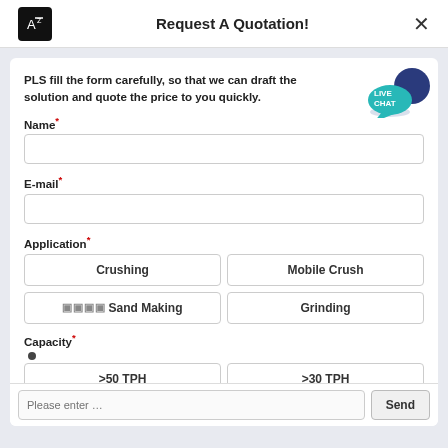Request A Quotation!
PLS fill the form carefully, so that we can draft the solution and quote the price to you quickly.
Name*
E-mail*
Application*
Crushing
Mobile Crush
Sand Making
Grinding
Capacity*
>50 TPH
>30 TPH